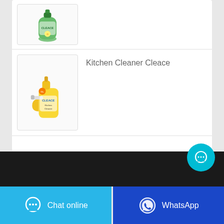[Figure (photo): Cleace dish soap bottle (green) product image in a bordered box]
[Figure (photo): Cleace Kitchen Cleaner spray bottle (yellow) product image in a bordered box]
Kitchen Cleaner Cleace
[Figure (illustration): Cyan circular chat bubble button with three dots]
[Figure (illustration): Dark footer bar at bottom of page]
[Figure (screenshot): Chat online button (light blue) with chat icon]
[Figure (screenshot): WhatsApp button (dark blue) with WhatsApp icon]